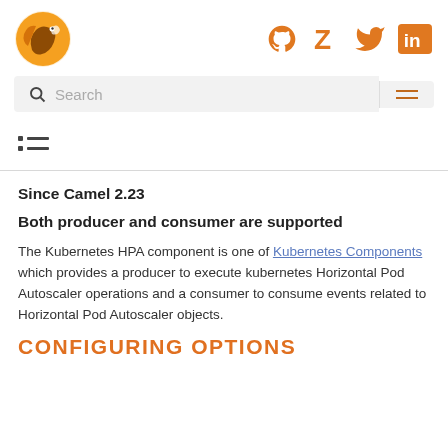Apache Camel logo and social icons (GitHub, Zulip, Twitter, LinkedIn)
Search
[Figure (other): Table of contents icon (list icon with bullet lines)]
Since Camel 2.23
Both producer and consumer are supported
The Kubernetes HPA component is one of Kubernetes Components which provides a producer to execute kubernetes Horizontal Pod Autoscaler operations and a consumer to consume events related to Horizontal Pod Autoscaler objects.
CONFIGURING OPTIONS